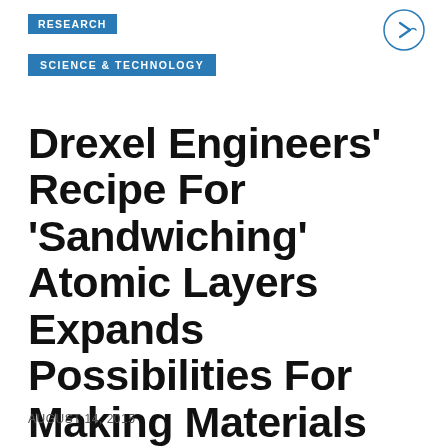RESEARCH
SCIENCE & TECHNOLOGY
Drexel Engineers' Recipe For 'Sandwiching' Atomic Layers Expands Possibilities For Making Materials That Store Energy
AUGUST 14, 2015